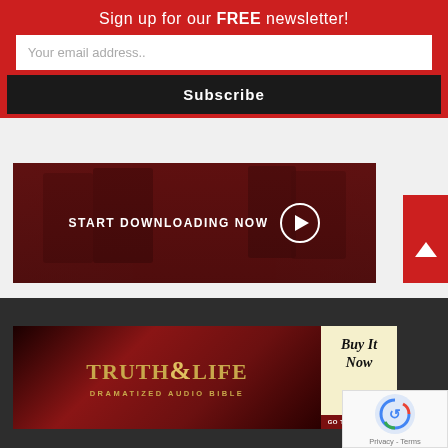Sign up for our FREE newsletter!
Your email address..
Subscribe
[Figure (screenshot): Dark red banner with people silhouettes and text START DOWNLOADING NOW with a play button circle]
[Figure (illustration): Red triangle up-arrow button on right side]
[Figure (illustration): Truth & Life Dramatized Audio Bible advertisement banner with Buy It Now button and Go To The Store link]
[Figure (other): reCAPTCHA widget showing Privacy - Terms text]